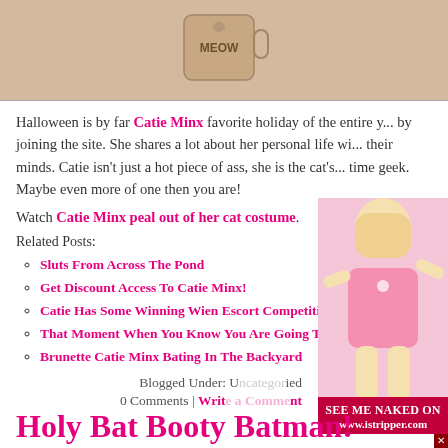[Figure (photo): Top portion of image showing a mug with MEOW text on a light background]
Halloween is by far Catie Minx favorite holiday of the entire y... by joining the site. She shares a lot about her personal life wi... their minds. Catie isn't just a hot piece of ass, she is the cat's... time geek. Maybe even more of one then you are!
Watch Catie Minx peal out of her cat costume.
Related Posts:
Sluts From Across The Pond
Get Discount Access To Catie Minx!
Catie Has Some Winning Wien Escort Competition
That Moment When You Know You Are Going To Get
Brunette Catie Minx Bating In The Backyard
Blogged Under: U... ed
0 Comments | Writ... nt
[Figure (photo): Blonde woman in pink lingerie, partially overlapping with istripper.com advertisement banner]
Holy Bat Booty Batman!